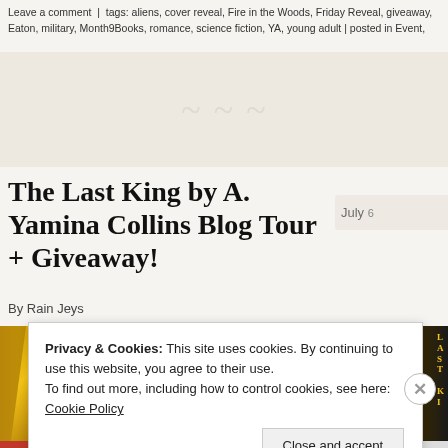Leave a comment | tags: aliens, cover reveal, Fire in the Woods, Friday Reveal, giveaway, Eaton, military, Month9Books, romance, science fiction, YA, young adult | posted in Event,
[Figure (illustration): Faded decorative banner with light watermark-style imagery on a beige/cream background]
The Last King by A. Yamina Collins Blog Tour + Giveaway!
July
By Rain Jeys
[Figure (photo): Book banner for 'The Last King' showing a golden throne on the left, the text LOVE. YOUR. ENEMY. in small caps, the title THE LAST KING in large gold letters on grey background, and the book spine/cover on the right side]
Privacy & Cookies: This site uses cookies. By continuing to use this website, you agree to their use.
To find out more, including how to control cookies, see here: Cookie Policy
Close and accept